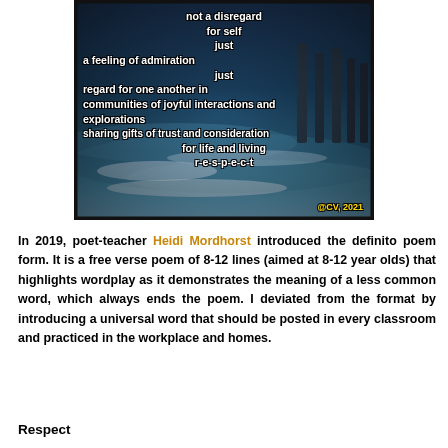[Figure (illustration): A poem overlaid on a dark ocean/pier photograph. The poem reads: 'not a disregard / for self / just / a feeling of admiration / just / regard for one another in / communities of joyful interactions and / explorations / sharing gifts of trust and consideration / for life and living / r-e-s-p-e-c-t'. Copyright @CV, 2021 shown in bottom right corner.]
In 2019, poet-teacher Heidi Mordhorst introduced the definito poem form. It is a free verse poem of 8-12 lines (aimed at 8-12 year olds) that highlights wordplay as it demonstrates the meaning of a less common word, which always ends the poem. I deviated from the format by introducing a universal word that should be posted in every classroom and practiced in the workplace and homes.
Respect